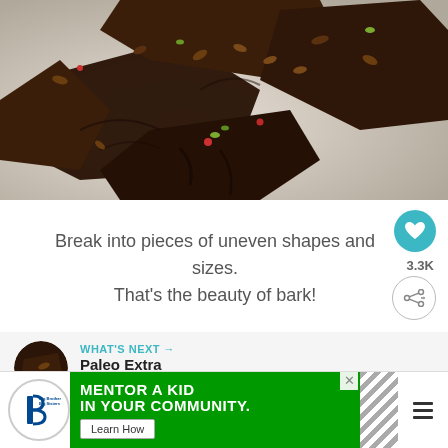[Figure (photo): Chocolate bark broken into irregular pieces with nuts, pistachios, goji berries on a white surface]
Break into pieces of uneven shapes and sizes. That's the beauty of bark!
[Figure (infographic): What's Next panel with thumbnail image of Paleo Extra Dark chocolate bark]
[Figure (infographic): Big Brothers Big Sisters advertisement banner: MENTOR A KID IN YOUR COMMUNITY. Learn How button.]